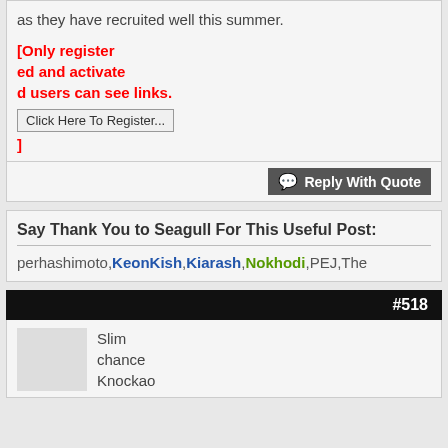as they have recruited well this summer.
[Only registered and activated users can see links. Click Here To Register... ]
Reply With Quote
Say Thank You to Seagull For This Useful Post:
perhashimoto,KeonKish,Kiarash,Nokhodi,PEJ,The
#518
Slim chance Knockao